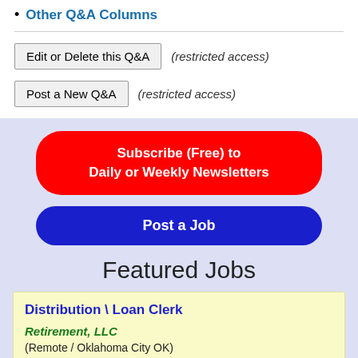Other Q&A Columns
Edit or Delete this Q&A  (restricted access)
Post a New Q&A  (restricted access)
Subscribe (Free) to Daily or Weekly Newsletters
Post a Job
Featured Jobs
Distribution \ Loan Clerk
Retirement, LLC
(Remote / Oklahoma City OK)